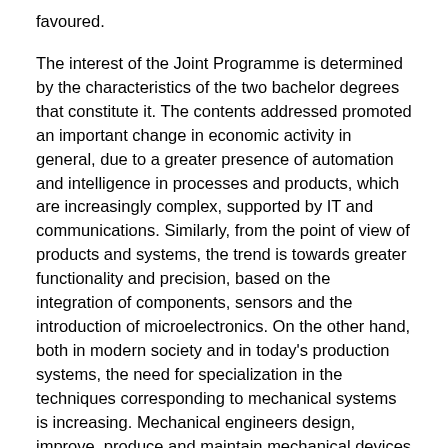favoured.
The interest of the Joint Programme is determined by the characteristics of the two bachelor degrees that constitute it. The contents addressed promoted an important change in economic activity in general, due to a greater presence of automation and intelligence in processes and products, which are increasingly complex, supported by IT and communications. Similarly, from the point of view of products and systems, the trend is towards greater functionality and precision, based on the integration of components, sensors and the introduction of microelectronics. On the other hand, both in modern society and in today's production systems, the need for specialization in the techniques corresponding to mechanical systems is increasing. Mechanical engineers design, improve, produce and maintain mechanical devices and systems components, engines and industrial facilities. Its activities include activities of great economic relevance for any developed country, such as industrial manufacturing and production systems.